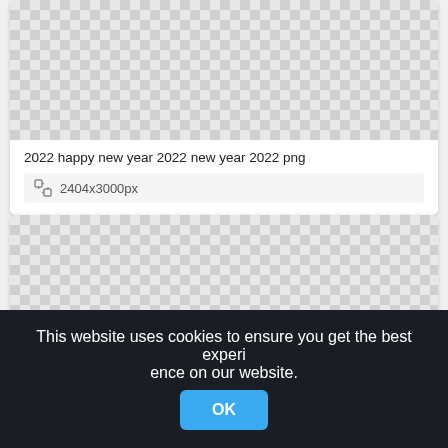[Figure (photo): Transparent/checkerboard background image placeholder for the first card]
2022 happy new year 2022 new year 2022 png
2404x3000px
[Figure (photo): Transparent/checkerboard background image placeholder for the second card]
This website uses cookies to ensure you get the best experience on our website.